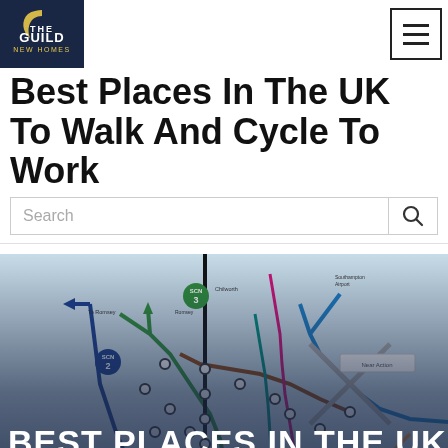The Guild New Homes
Best Places In The UK To Walk And Cycle To Work
[Figure (map): A transit-style cycling and walking route map of Southampton, UK, showing various named routes and stops in a London Underground style diagram with coloured lines. Overlaid text reads: BEST PLACES IN THE UK TO WALK AND CYCLE TO WORK]